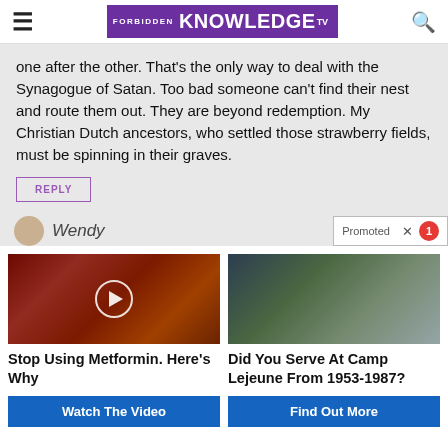FORBIDDEN KNOWLEDGE TV
one after the other. That's the only way to deal with the Synagogue of Satan. Too bad someone can't find their nest and route them out. They are beyond redemption. My Christian Dutch ancestors, who settled those strawberry fields, must be spinning in their graves.
REPLY
Wendy
[Figure (photo): Close-up image of a claw or thorn with fleshy red background, with a play button overlay]
[Figure (photo): Military soldiers on a speedboat in water with trees in background]
Stop Using Metformin. Here's Why
Watch The Video
Did You Serve At Camp Lejeune From 1953-1987?
Find Out More